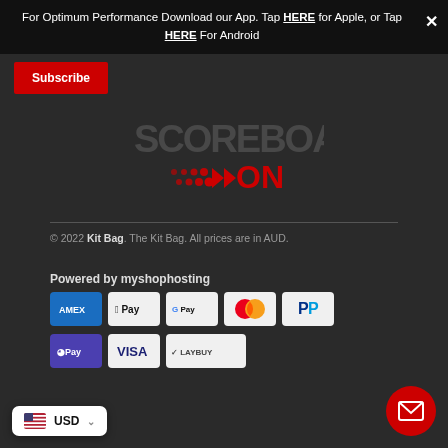For Optimum Performance Download our App. Tap HERE for Apple, or Tap HERE For Android
Subscribe
[Figure (logo): Scoreboard ON logo — white text with dotted red arrow and red ON text on dark background]
© 2022 Kit Bag. The Kit Bag. All prices are in AUD.
Powered by myshophosting
[Figure (other): Payment method icons: American Express, Apple Pay, Google Pay, Mastercard, PayPal, OPay, Visa, Laybuy]
USD
[Figure (other): Red circular email/contact button with envelope icon]